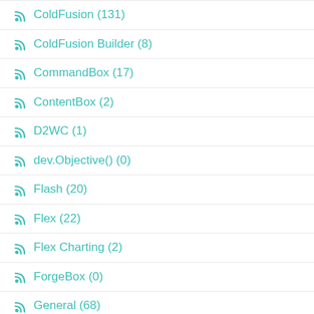ColdFusion (131)
ColdFusion Builder (8)
CommandBox (17)
ContentBox (2)
D2WC (1)
dev.Objective() (0)
Flash (20)
Flex (22)
Flex Charting (2)
ForgeBox (0)
General (68)
GitHub (4)
Google (8)